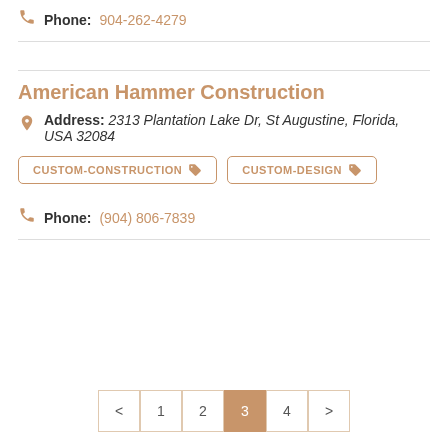Phone: 904-262-4279
American Hammer Construction
Address: 2313 Plantation Lake Dr, St Augustine, Florida, USA 32084
CUSTOM-CONSTRUCTION
CUSTOM-DESIGN
Phone: (904) 806-7839
< 1 2 3 4 >